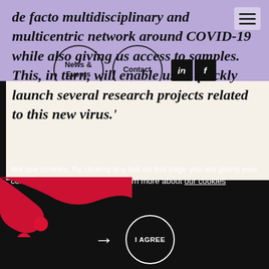[Figure (logo): Black stylized logo with circular nodes and connecting lines on purple background]
[Figure (infographic): Navigation: News & Events circle button, Contact circle button, LinkedIn and Facebook social icons, hamburger menu icon]
de facto multidisciplinary and multicentric network around COVID-19 while also giving us access to samples. This, in turn, will enable us to quickly launch several research projects related to this new virus.'
We use cookies. By clicking any link on this page you are giving your consent for us to set cookies. Learn more about our cookies
[Figure (illustration): Red blob / paint splash decorative shape with two red circles, on black background]
[Figure (infographic): Arrow pointing right and I AGREE circle button on black background]